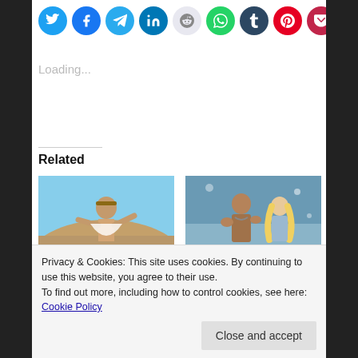[Figure (other): Row of social media sharing icons: Twitter (blue), Facebook (blue), Telegram (light blue), LinkedIn (dark blue), Reddit (light gray), WhatsApp (green), Tumblr (dark blue), Pinterest (red), Pocket (dark red), Email (gray)]
Loading...
Related
[Figure (photo): Movie still showing a young man in warrior costume outdoors against blue sky and hillside]
[Figure (photo): Movie still showing muscular man and blonde woman in fantasy/barbarian costumes]
Privacy & Cookies: This site uses cookies. By continuing to use this website, you agree to their use.
To find out more, including how to control cookies, see here: Cookie Policy
Close and accept